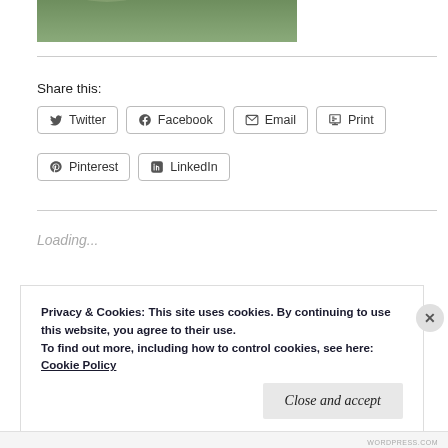[Figure (photo): Cropped bottom portion of a plant/garden photo showing green foliage and ground]
Share this:
Twitter  Facebook  Email  Print  Pinterest  LinkedIn
Loading...
Privacy & Cookies: This site uses cookies. By continuing to use this website, you agree to their use.
To find out more, including how to control cookies, see here:
Cookie Policy
Close and accept
WORDPRESS.COM